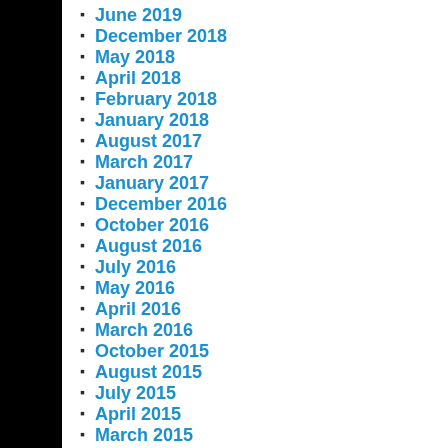June 2019
December 2018
May 2018
April 2018
February 2018
January 2018
August 2017
March 2017
January 2017
December 2016
October 2016
August 2016
July 2016
May 2016
April 2016
March 2016
October 2015
August 2015
July 2015
April 2015
March 2015